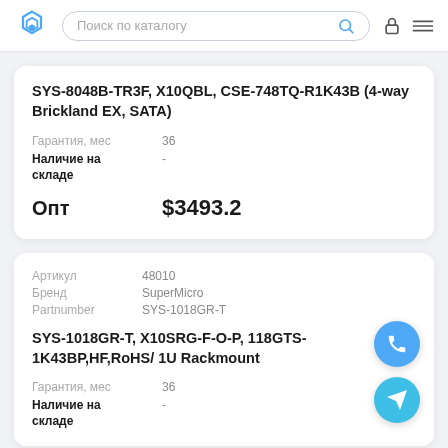Поиск по каталогу
SYS-8048B-TR3F, X10QBL, CSE-748TQ-R1K43B (4-way Brickland EX, SATA)
Гарантия, мес  36
Наличие на складе  -
Опт  $3493.2
| Артикул | Бренд | Partnumber |
| --- | --- | --- |
| 48010 | SuperMicro | SYS-1018GR-T |
SYS-1018GR-T, X10SRG-F-O-P, 118GTS-1K43BP,HF,RoHS/ 1U Rackmount
Гарантия, мес  36
Наличие на складе  -